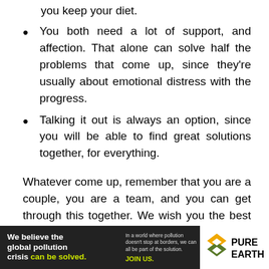you keep your diet.
You both need a lot of support, and affection. That alone can solve half the problems that come up, since they're usually about emotional distress with the progress.
Talking it out is always an option, since you will be able to find great solutions together, for everything.
Whatever come up, remember that you are a couple, you are a team, and you can get through this together. We wish you the best of luck, and stay healthy!
[Figure (infographic): Pure Earth advertisement banner: 'We believe the global pollution crisis can be solved.' with Pure Earth logo on the right.]